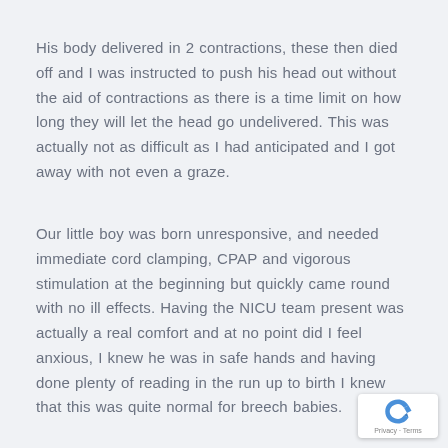His body delivered in 2 contractions, these then died off and I was instructed to push his head out without the aid of contractions as there is a time limit on how long they will let the head go undelivered. This was actually not as difficult as I had anticipated and I got away with not even a graze.
Our little boy was born unresponsive, and needed immediate cord clamping, CPAP and vigorous stimulation at the beginning but quickly came round with no ill effects. Having the NICU team present was actually a real comfort and at no point did I feel anxious, I knew he was in safe hands and having done plenty of reading in the run up to birth I knew that this was quite normal for breech babies.
[Figure (logo): Google reCAPTCHA badge with Privacy and Terms links]